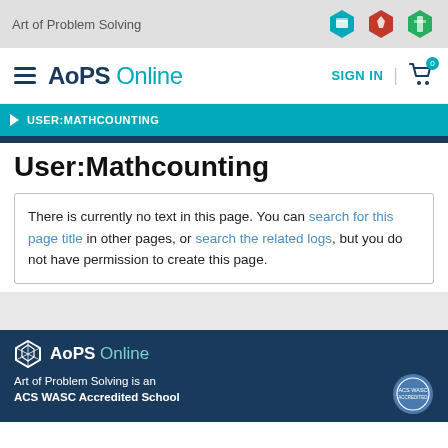Art of Problem Solving
USER:MATHCOUNTING
User:Mathcounting
There is currently no text in this page. You can search for this page title in other pages, or search the related logs, but you do not have permission to create this page.
AoPS Online — Art of Problem Solving is an ACS WASC Accredited School